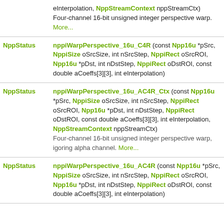| Type | Function Signature |
| --- | --- |
| NppStatus | nppiWarpPerspective_16u_C4R_Ctx (const Npp16u *pSrc, NppiSize oSrcSize, int nSrcStep, NppiRect oSrcROI, Npp16u *pDst, int nDstStep, NppiRect oDstROI, const double aCoeffs[3][3], int eInterpolation, NppStreamContext nppStreamCtx)
Four-channel 16-bit unsigned integer perspective warp. More... |
| NppStatus | nppiWarpPerspective_16u_C4R (const Npp16u *pSrc, NppiSize oSrcSize, int nSrcStep, NppiRect oSrcROI, Npp16u *pDst, int nDstStep, NppiRect oDstROI, const double aCoeffs[3][3], int eInterpolation) |
| NppStatus | nppiWarpPerspective_16u_AC4R_Ctx (const Npp16u *pSrc, NppiSize oSrcSize, int nSrcStep, NppiRect oSrcROI, Npp16u *pDst, int nDstStep, NppiRect oDstROI, const double aCoeffs[3][3], int eInterpolation, NppStreamContext nppStreamCtx)
Four-channel 16-bit unsigned integer perspective warp, igoring alpha channel. More... |
| NppStatus | nppiWarpPerspective_16u_AC4R (const Npp16u *pSrc, NppiSize oSrcSize, int nSrcStep, NppiRect oSrcROI, Npp16u *pDst, int nDstStep, NppiRect oDstROI, const double aCoeffs[3][3], int eInterpolation) |